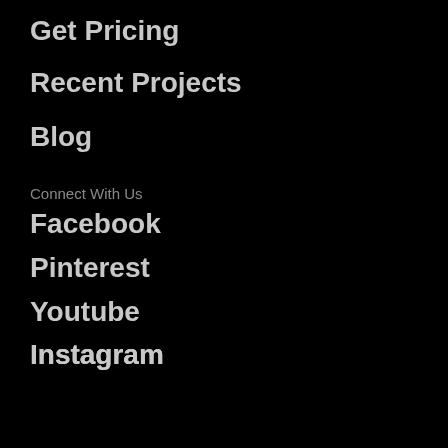Get Pricing
Recent Projects
Blog
Connect With Us
Facebook
Pinterest
Youtube
Instagram
Houzz
Twitter
Certified Professionals
The Stained Glass...
[Figure (logo): Partial blue ellipse logo, text ASSOC visible]
Chat now